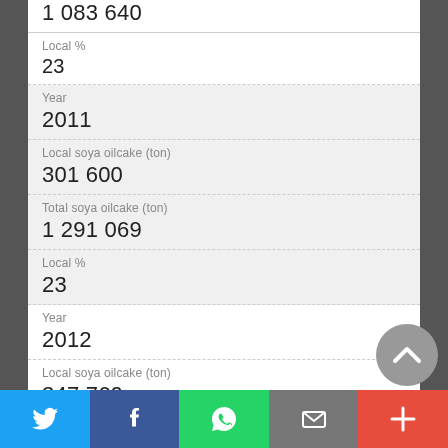1 083 640
Local %
23
Year
2011
Local soya oilcake (ton)
301 600
Total soya oilcake (ton)
1 291 069
Local %
23
Year
2012
Local soya oilcake (ton)
347 760
Total soya oilcake (ton)
1 271 341